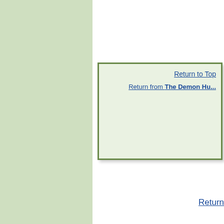Return to Top
Return from The Demon Hu...
Return
Home   Site Search   Privacy Policy   Discla...
[Figure (logo): Site Build It Made Easy logo with colorful letter tiles on dark blue background]
Copyright © 2011-2014 | O...
PROTECTED BY C...
POWERED BY S...